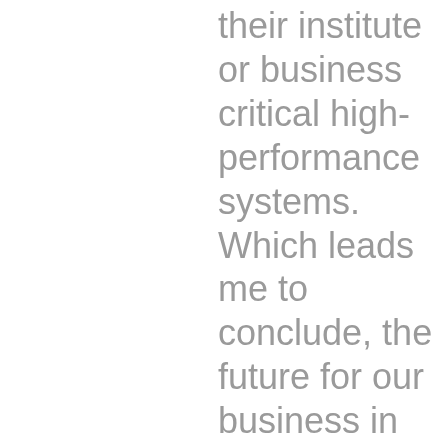their institute or business critical high-performance systems. Which leads me to conclude, the future for our business in Asia is,
This website stores cookies on your computer. These cookies are used to collect information about how you interact with our website and allow us to remember you. We use this information in order to improve and customize your browsing experience and for analytics and metrics about our visitors both on this website and other media. To find out more about the cookies we use, see our Privacy Policy.
If you decline, your information won't be tracked when you visit this website. A single cookie will be used in your browser to remember your preference not to be tracked.